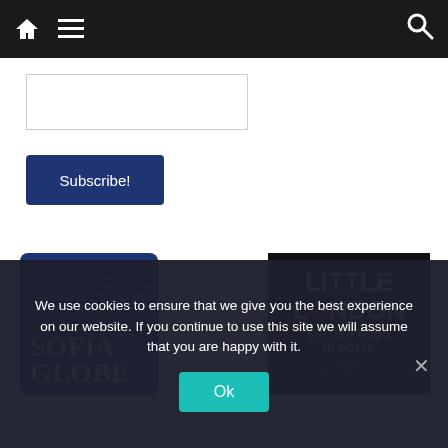[Figure (screenshot): Dark navigation bar with home icon, hamburger menu icon on left, and search icon on right.]
[Figure (screenshot): White text input box for email subscription form.]
[Figure (screenshot): Subscribe! button in dark blue/navy color.]
[Figure (logo): The Sofia Globe logo — dark blue rounded square with white dot globe pattern and bold white serif text reading THE SOFIA GLOBE.]
[Figure (logo): Little London logo — black square with white bold text reading LITTLE LONDON, subtitle BRITISH FOOD IN SOFIA, and Sofia written below in italic gold.]
We use cookies to ensure that we give you the best experience on our website. If you continue to use this site we will assume that you are happy with it.
[Figure (screenshot): Teal Ok button in cookie consent banner.]